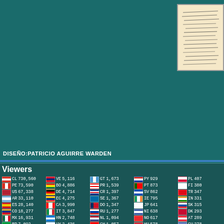[Figure (illustration): Teal/dark green background area with a manuscript or handwritten document image in the top right corner]
DISEÑO:PATRICIO AGUIRRE WARDEN
| Flag | CC | Count | Flag | CC | Count | Flag | CC | Count | Flag | CC | Count | Flag | CC | Count |
| --- | --- | --- | --- | --- | --- | --- | --- | --- | --- | --- | --- | --- | --- | --- |
| [CL] | CL | 730,560 | [VE] | VE | 5,116 | [GT] | GT | 1,673 | [PY] | PY | 929 | [PL] | PL | 407 |
| [PE] | PE | 73,590 | [BO] | BO | 4,886 | [PR] | PR | 1,539 | [PT] | PT | 873 | [FI] | FI | 380 |
| [US] | US | 67,338 | [DE] | DE | 4,714 | [CR] | CR | 1,397 | [SV] | SV | 862 | [TR] | TR | 347 |
| [AR] | AR | 33,110 | [EC] | EC | 4,275 | [SE] | SE | 1,367 | [IE] | IE | 795 | [IN] | IN | 331 |
| [ES] | ES | 28,140 | [CA] | CA | 3,990 | [DO] | DO | 1,347 | [JP] | JP | 641 | [SK] | SK | 315 |
| [CO] | CO | 18,277 | [IT] | IT | 3,847 | [RU] | RU | 1,277 | [NI] | NI | 638 | [DK] | DK | 293 |
| [MX] | MX | 16,931 | [HN] | HN | 2,748 | [NL] | NL | 1,094 | [NO] | NO | 617 | [AT] | AT | 289 |
| [BR] | BR | 7,092 | [UY] | UY | 2,436 | [CH] | CH | 1,057 | [HU] | HU | 578 | [CU] | CU | 278 |
| [GB] | GB | 5,423 | [AU] | AU | 2,084 | [BE] | BE | 1,056 | [CZ] | CZ | 525 | [IL] | IL | 264 |
| [FR] | FR | 5,220 | [CN] | CN | 2,061 | [PA] | PA | 1,055 | [KR] | KR | 437 | [RO] | RO | 261 |
Pageviews: 2,848,275
Flags Collected: 186